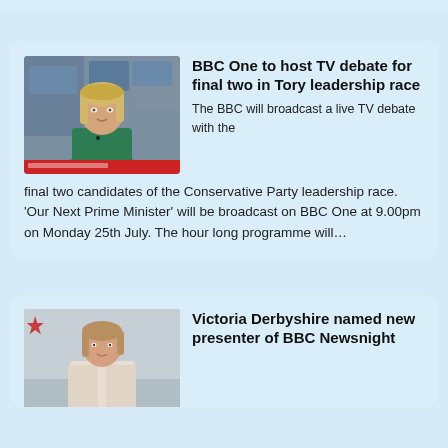[Figure (screenshot): Top blue bar strip at top of page]
[Figure (photo): News anchor woman in green top at BBC news desk]
BBC One to host TV debate for final two in Tory leadership race
The BBC will broadcast a live TV debate with the final two candidates of the Conservative Party leadership race. 'Our Next Prime Minister' will be broadcast on BBC One at 9.00pm on Monday 25th July. The hour long programme will…
[Figure (photo): Victoria Derbyshire in light coloured blazer]
Victoria Derbyshire named new presenter of BBC Newsnight